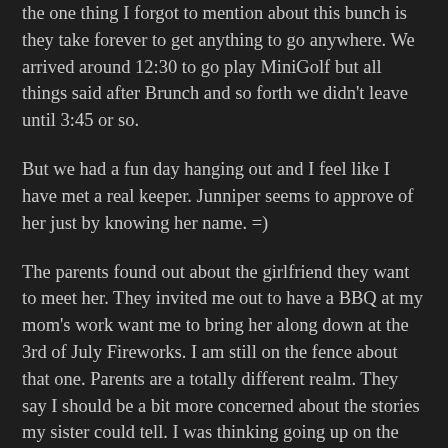the one thing I forgot to mention about this bunch is they take forever to get anything to go anywhere. We arrived around 12:30 to go play MiniGolf but all things said after Brunch and so forth we didn't leave until 3:45 or so.
But we had a fun day hanging out and I feel like I have met a real keeper. Junniper seems to approve of her just by knowing her name. =)
The parents found out about the girlfriend they want to meet her. They invited me out to have a BBQ at my mom's work want me to bring her along down at the 3rd of July Fireworks. I am still on the fence about that one. Parents are a totally different realm. They say I should be a bit more concerned about the stories my sister could tell. I was thinking going up on the grassy hill and just having a picnic. Who knows at this point.